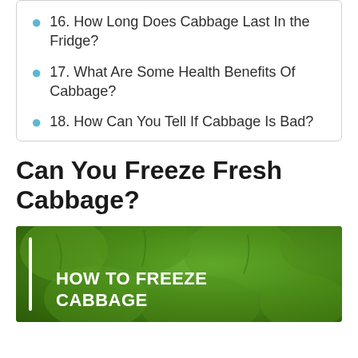16. How Long Does Cabbage Last In the Fridge?
17. What Are Some Health Benefits Of Cabbage?
18. How Can You Tell If Cabbage Is Bad?
Can You Freeze Fresh Cabbage?
[Figure (photo): Green cabbage heads photographed from above with white text overlay reading HOW TO FREEZE CABBAGE and a white vertical bar accent on the left]